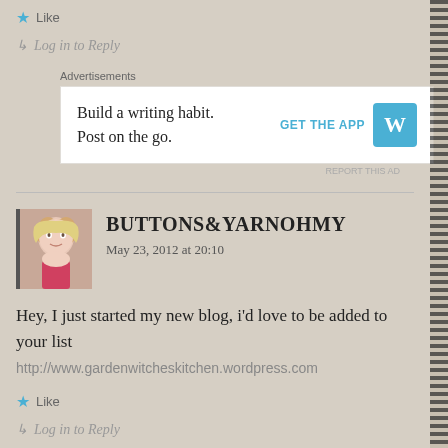Like
Log in to Reply
Advertisements
[Figure (screenshot): WordPress advertisement: Build a writing habit. Post on the go. GET THE APP with WordPress logo.]
[Figure (photo): Avatar photo of Buttons&Yarnohmy commenter - blonde woman]
BUTTONS&YARNOHMY
May 23, 2012 at 20:10
Hey, I just started my new blog, i'd love to be added to your list
http://www.gardenwitcheskitchen.wordpress.com
Like
Log in to Reply